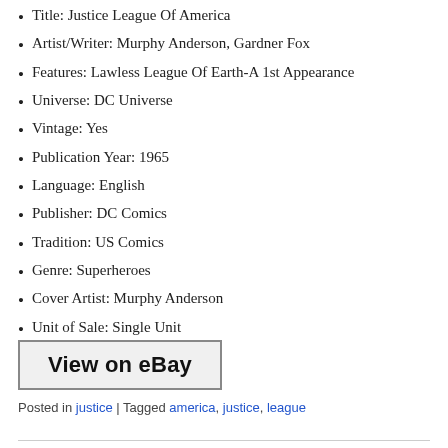Title: Justice League Of America
Artist/Writer: Murphy Anderson, Gardner Fox
Features: Lawless League Of Earth-A 1st Appearance
Universe: DC Universe
Vintage: Yes
Publication Year: 1965
Language: English
Publisher: DC Comics
Tradition: US Comics
Genre: Superheroes
Cover Artist: Murphy Anderson
Unit of Sale: Single Unit
Era: Silver Age (1956-69)
[Figure (other): View on eBay button]
Posted in justice | Tagged america, justice, league